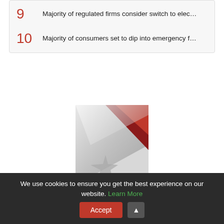9  Majority of regulated firms consider switch to elec…
10  Majority of consumers set to dip into emergency f…
[Figure (logo): National Credit Awards 2022 logo with red and silver geometric design]
We use cookies to ensure you get the best experience on our website. Learn More  Accept